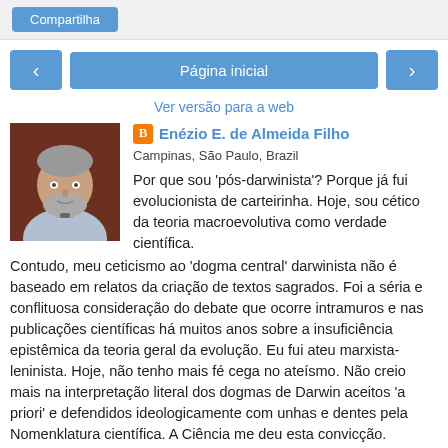Compartilha
[Figure (other): Navigation buttons: left arrow, Página inicial center button, right arrow]
Ver versão para a web
[Figure (photo): Photo of Enézio E. de Almeida Filho, a man with grey beard]
Enézio E. de Almeida Filho
Campinas, São Paulo, Brazil
Por que sou 'pós-darwinista'? Porque já fui evolucionista de carteirinha. Hoje, sou cético da teoria macroevolutiva como verdade científica. Contudo, meu ceticismo ao 'dogma central' darwinista não é baseado em relatos da criação de textos sagrados. Foi a séria e conflituosa consideração do debate que ocorre intramuros e nas publicações científicas há muitos anos sobre a insuficiência epistêmica da teoria geral da evolução. Eu fui ateu marxista-leninista. Hoje, não tenho mais fé cega no ateísmo. Não creio mais na interpretação literal dos dogmas de Darwin aceitos 'a priori' e defendidos ideologicamente com unhas e dentes pela Nomenklatura científica. A Ciência me deu esta convicção. Aprendi na universidade: quando uma teoria científica não é apoiada pelas